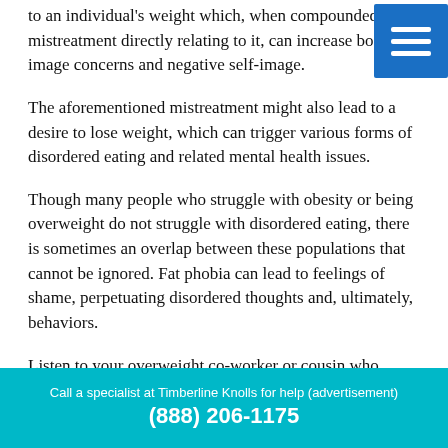to an individual's weight which, when compounded by mistreatment directly relating to it, can increase body image concerns and negative self-image.
The aforementioned mistreatment might also lead to a desire to lose weight, which can trigger various forms of disordered eating and related mental health issues.
Though many people who struggle with obesity or being overweight do not struggle with disordered eating, there is sometimes an overlap between these populations that cannot be ignored. Fat phobia can lead to feelings of shame, perpetuating disordered thoughts and, ultimately, behaviors.
Listen to your overweight co-worker or cousin who
Call a specialist at Timberline Knolls for help (advertisement)
(888) 206-1175